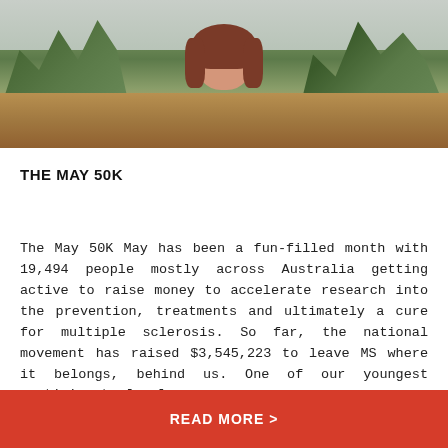[Figure (photo): Young girl with brown hair smiling outdoors in bushland/scrubland setting with grey sky and eucalyptus trees in background]
THE MAY 50K
The May 50K May has been a fun-filled month with 19,494 people mostly across Australia getting active to raise money to accelerate research into the prevention, treatments and ultimately a cure for multiple sclerosis. So far, the national movement has raised $3,545,223 to leave MS where it belongs, behind us. One of our youngest participants [...]
16 June, 2022
READ MORE >